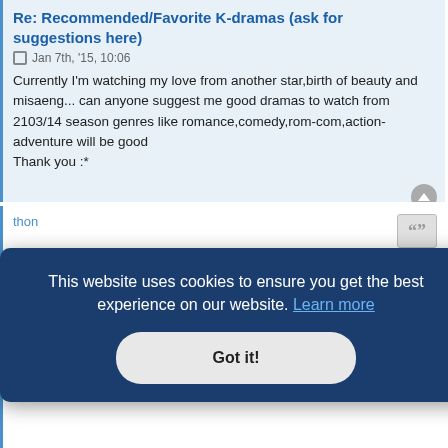Re: Recommended/Favorite K-dramas (ask for suggestions here)
Jan 7th, '15, 10:06
Currently I'm watching my love from another star,birth of beauty and misaeng... can anyone suggest me good dramas to watch from 2103/14 season genres like romance,comedy,rom-com,action-adventure will be good
Thank you :*
thon
Re: Recommended/Favorite K-dramas (ask for suggestions here)
Jan 9th, '15, 02:48
This website uses cookies to ensure you get the best experience on our website. Learn more
Got it!
...eason good
Princess,Miss Korea,Angel Eyes,It's Okay That's Love,Prime Minister for I...